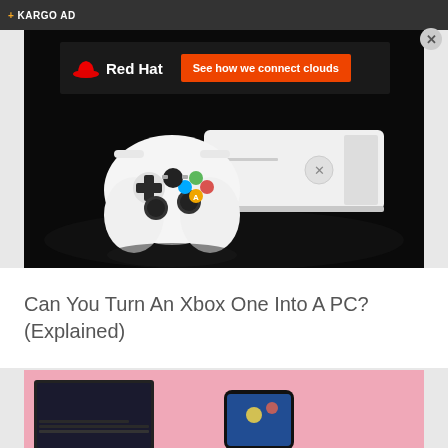+ KARGO AD
[Figure (photo): Red Hat advertisement banner with logo and orange button reading 'See how we connect clouds' on dark background]
[Figure (photo): Xbox One S white gaming console with white controller on dark reflective surface]
Can You Turn An Xbox One Into A PC? (Explained)
[Figure (photo): Laptop and smartphone on pink background showing gaming content]